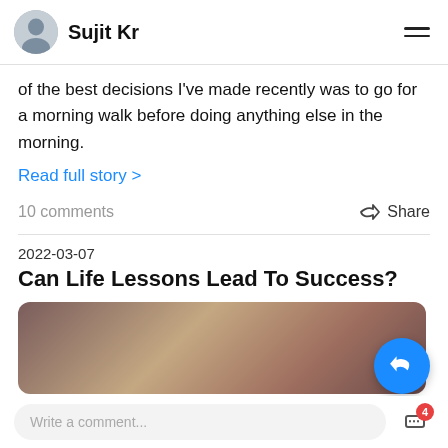Sujit Kr
of the best decisions I've made recently was to go for a morning walk before doing anything else in the morning.
Read full story >
10 comments
Share
2022-03-07
Can Life Lessons Lead To Success?
[Figure (photo): A blurred warm-toned landscape or abstract photograph with earthy pink, brown and mauve tones, used as article header image.]
Write a comment...